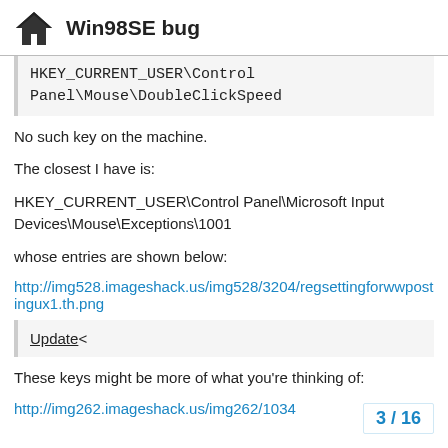Win98SE bug
HKEY_CURRENT_USER\Control Panel\Mouse\DoubleClickSpeed
No such key on the machine.
The closest I have is:
HKEY_CURRENT_USER\Control Panel\Microsoft Input Devices\Mouse\Exceptions\1001
whose entries are shown below:
http://img528.imageshack.us/img528/3204/regsettingforwwpostingux1.th.png
Update<
These keys might be more of what you're thinking of:
http://img262.imageshack.us/img262/1034
3 / 16